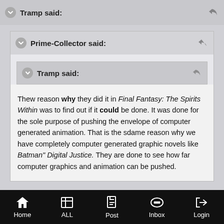Tramp said:
Prime-Collector said:
Tramp said:
Thew reason why they did it in Final Fantasy: The Spirits Within was to find out if it could be done. It was done for the sole purpose of pushing the envelope of computer generated animation. That is the sdame reason why we have completely computer generated graphic novels like Batman" Digital Justice. They are done to see how far computer graphics and animation can be pushed.
Home   ALL   Post   Inbox   Login